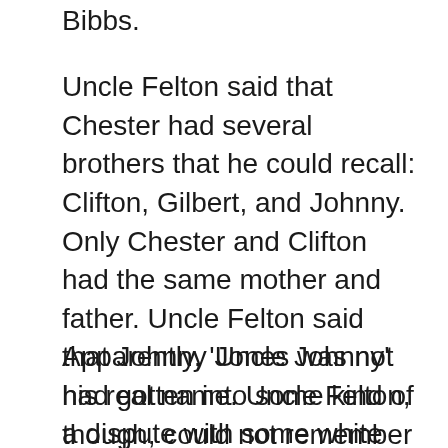Bibbs.
Uncle Felton said that Chester had several brothers that he could recall: Clifton, Gilbert, and Johnny. Only Chester and Clifton had the same mother and father. Uncle Felton said that Johnny Jones was not his real name. Uncle Felton, though, could not remember his original first name, but he knew Johnny’s surname was ‘Bazile’. Clifton and his descendants use the surname Franks, whereas Chester and his descendants use the surname Frank.
Apparently, ‘Uncle Johnny’ had gotten into some kind of a dispute with some white people and was threatened with death, so he fled Louisiana. According to Uncle Johnny’s obituary he moved to